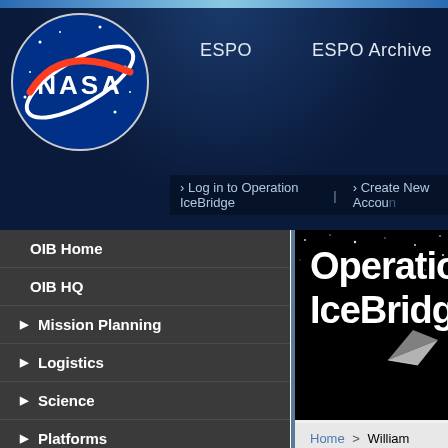[Figure (screenshot): NASA website header with NASA logo (meatball), navigation links ESPO and ESPO Archive, sub-navigation login links, left sidebar menu, and Operation IceBridge content area showing William Randel profile]
ESPO | ESPO Archive
› Log in to Operation IceBridge | › Create New Account
OIB Home
OIB HQ
Mission Planning
Logistics
Science
Platforms
Participants
Links
Photos
Videos
Twitter @NASA_ICE
OIB Blog
Operation IceBridge
Home > William Randel
William Randel
Organization: National Center for A
Email: Contact person by email
Business Address:
PO Box 3000
Boulder, CO 80307
United States
Website:
http://acd.ucar.edu/~randel/